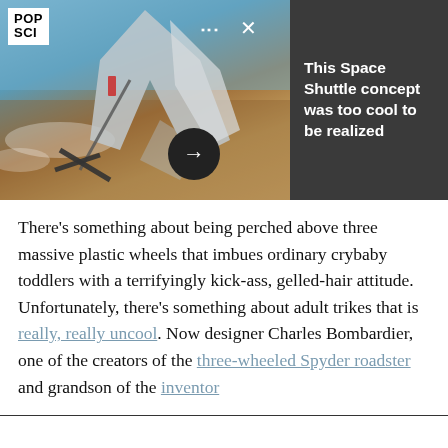[Figure (photo): Painted or illustrated image of a futuristic aircraft/vehicle over water with a landscape background. POP SCI logo in top-left corner. Navigation dots and X close button visible. Dark arrow button in center bottom. Dark gray panel on right with white text: 'This Space Shuttle concept was too cool to be realized']
There's something about being perched above three massive plastic wheels that imbues ordinary crybaby toddlers with a terrifyingly kick-ass, gelled-hair attitude. Unfortunately, there's something about adult trikes that is really, really uncool. Now designer Charles Bombardier, one of the creators of the three-wheeled Spyder roadster and grandson of the inventor